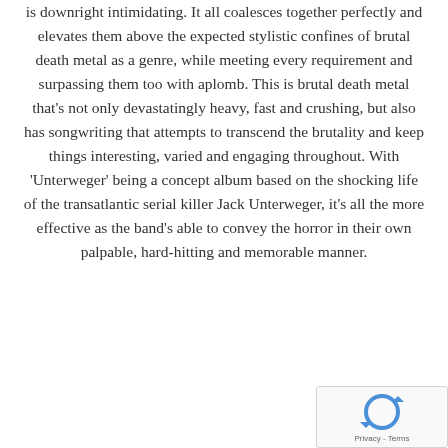is downright intimidating. It all coalesces together perfectly and elevates them above the expected stylistic confines of brutal death metal as a genre, while meeting every requirement and surpassing them too with aplomb. This is brutal death metal that's not only devastatingly heavy, fast and crushing, but also has songwriting that attempts to transcend the brutality and keep things interesting, varied and engaging throughout. With 'Unterweger' being a concept album based on the shocking life of the transatlantic serial killer Jack Unterweger, it's all the more effective as the band's able to convey the horror in their own palpable, hard-hitting and memorable manner.
[Figure (logo): reCAPTCHA badge with spinning arrows icon and Privacy - Terms text]